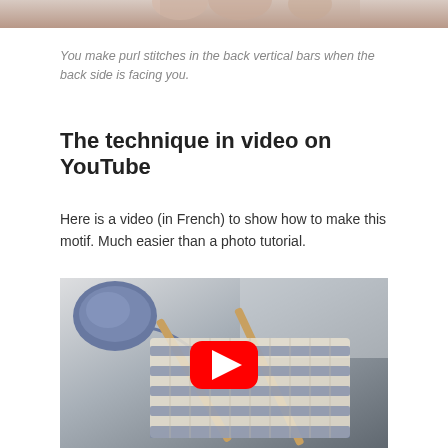[Figure (photo): Close-up photo of knitting work, partially visible at top of page]
You make purl stitches in the back vertical bars when the back side is facing you.
The technique in video on YouTube
Here is a video (in French) to show how to make this motif. Much easier than a photo tutorial.
[Figure (photo): YouTube video thumbnail showing a knitting swatch with blue and white yarn on needles, with a red YouTube play button overlay in the center]